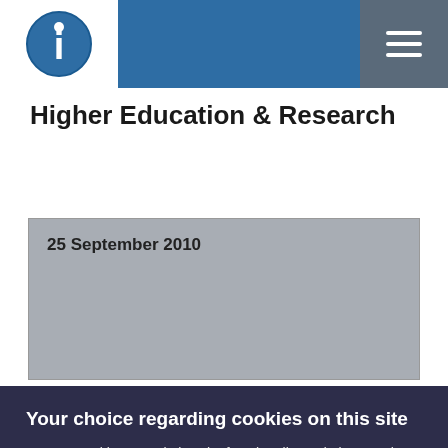Higher Education & Research
25 September 2010
Your choice regarding cookies on this site
We use cookies to optimise site functionality and give you the best possible experience.
Accept
I Do Not Accept Cookies
Cookie Preferences